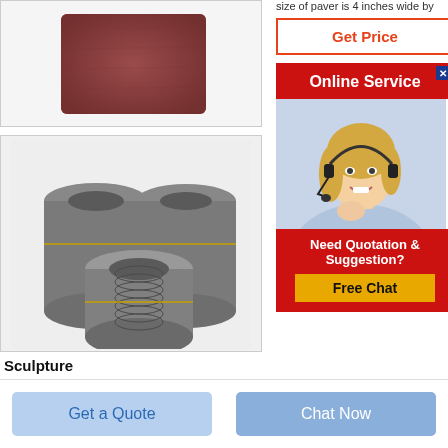[Figure (photo): Brown/reddish rectangular paver tile on white background]
size of paver is 4 inches wide by
[Figure (other): Get Price button with orange/red border]
[Figure (other): Online Service banner with red background and close X button]
[Figure (photo): Female customer service agent with headset, smiling]
[Figure (other): Need Quotation & Suggestion? Free Chat button panel]
[Figure (photo): Three graphite electrode cylinders stacked together]
Sculpture
[Figure (other): Get a Quote button]
[Figure (other): Chat Now button]